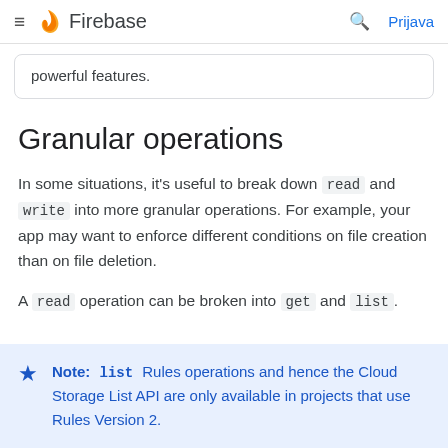≡ Firebase   🔍 Prijava
powerful features.
Granular operations
In some situations, it's useful to break down read and write into more granular operations. For example, your app may want to enforce different conditions on file creation than on file deletion.
A read operation can be broken into get and list.
Note: list Rules operations and hence the Cloud Storage List API are only available in projects that use Rules Version 2.